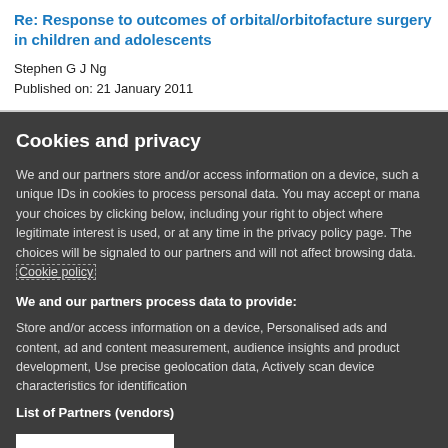Re: Response to outcomes of orbital/orbitofacture surgery in children and adolescents
Stephen G J Ng
Published on: 21 January 2011
Cookies and privacy
We and our partners store and/or access information on a device, such as unique IDs in cookies to process personal data. You may accept or manage your choices by clicking below, including your right to object where legitimate interest is used, or at any time in the privacy policy page. These choices will be signaled to our partners and will not affect browsing data. Cookie policy
We and our partners process data to provide:
Store and/or access information on a device, Personalised ads and content, ad and content measurement, audience insights and product development, Use precise geolocation data, Actively scan device characteristics for identification
List of Partners (vendors)
I Accept